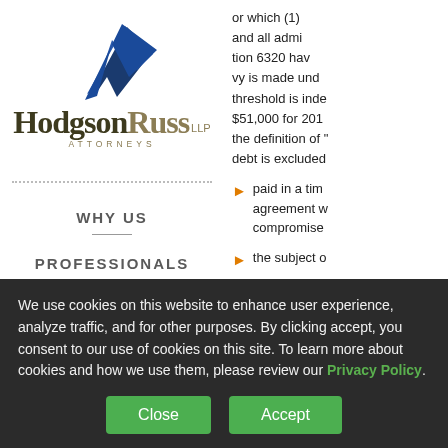[Figure (logo): Hodgson Russ LLP Attorneys logo with blue arrow/chevron graphic above the text]
WHY US
PROFESSIONALS
or which (1) and all admi tion 6320 have vy is made unde threshold is index $51,000 for 2018 the definition of “s debt is excluded i
paid in a time agreement w compromise
the subject o
We use cookies on this website to enhance user experience, analyze traffic, and for other purposes. By clicking accept, you consent to our use of cookies on this site. To learn more about cookies and how we use them, please review our Privacy Policy.
Close  Accept